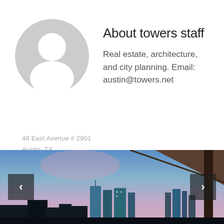[Figure (illustration): Generic grey avatar/profile placeholder icon showing a person silhouette (head and shoulders) inside a circle]
About towers staff
Real estate, architecture, and city planning. Email: austin@towers.net
48 East Avenue # 2901
Austin, TX
[Figure (photo): Photograph of Austin TX skyline with city buildings under a blue/purple dusk sky, viewed from below an architectural overhang/canopy. Navigation arrows visible on left and right sides.]